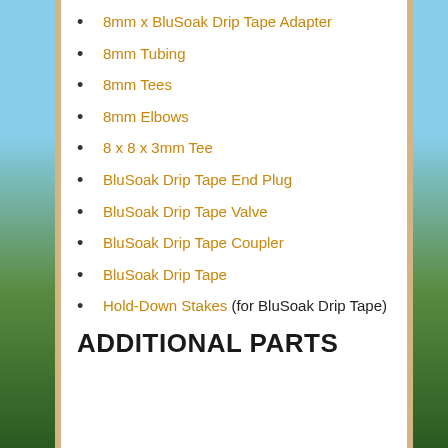8mm x BluSoak Drip Tape Adapter
8mm Tubing
8mm Tees
8mm Elbows
8 x 8 x 3mm Tee
BluSoak Drip Tape End Plug
BluSoak Drip Tape Valve
BluSoak Drip Tape Coupler
BluSoak Drip Tape
Hold-Down Stakes (for BluSoak Drip Tape)
ADDITIONAL PARTS